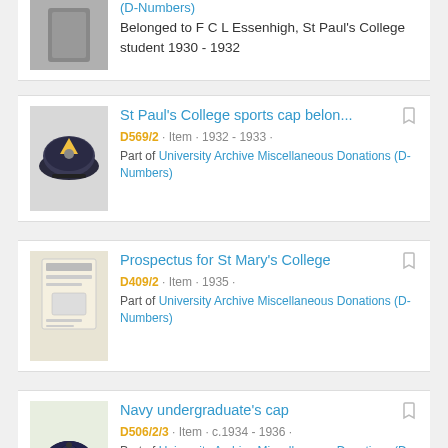(D-Numbers)
Belonged to F C L Essenhigh, St Paul's College student 1930 - 1932
[Figure (photo): Photo of a dark sports cap with badge, St Paul's College]
St Paul's College sports cap belon...
D569/2 · Item · 1932 - 1933 ·
Part of University Archive Miscellaneous Donations (D-Numbers)
[Figure (photo): Photo of a booklet/prospectus for St Mary's College]
Prospectus for St Mary's College
D409/2 · Item · 1935 ·
Part of University Archive Miscellaneous Donations (D-Numbers)
[Figure (photo): Photo of a navy undergraduate's cap]
Navy undergraduate's cap
D506/2/3 · Item · c.1934 - 1936 ·
Part of University Archive Miscellaneous Donations (D-Numbers)
Missing tassel